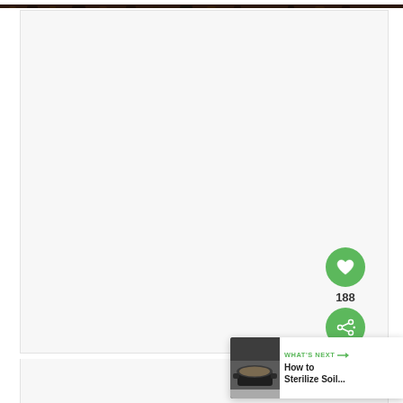[Figure (photo): Dark brown/black soil or earth texture strip at the top of the page]
[Figure (photo): Large white/light grey blank content area (main article image placeholder)]
[Figure (infographic): Green circular heart/like button with heart icon, showing 188 likes, and green share button below]
[Figure (screenshot): WHAT'S NEXT card with thumbnail of a pot with soil and text 'How to Sterilize Soil...']